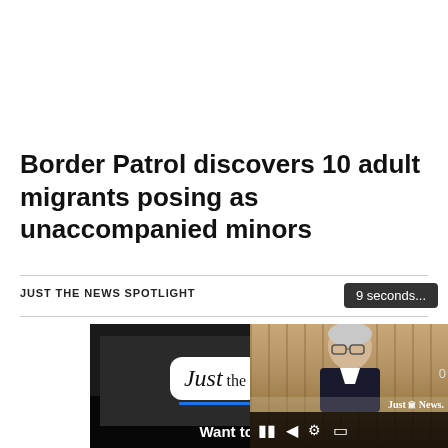Border Patrol discovers 10 adult migrants posing as unaccompanied minors
JUST THE NEWS SPOTLIGHT
9 seconds...
[Figure (screenshot): Just the News video player showing the Just the News logo and text 'Believe in Freedom of Speech? Want to Support Honest' with video controls overlay and a popup video of a man speaking in front of a bookshelf]
Believe in Freedom of Speech? Want to Support Honest